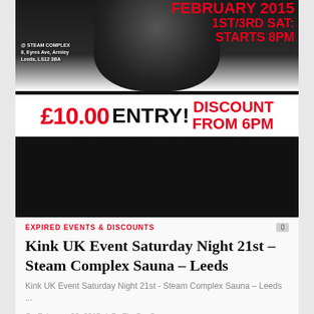[Figure (photo): Promotional poster for a Kink UK event at Steam Complex Sauna, Leeds. Shows a dark figure/person in leather at the top, with red text reading 'FEBRUARY 2015 / 1ST/3RD SAT: / STARTS 8PM', address '@ STEAM COMPLEX, 8, Eyres Ave, Armley, Leeds, LS12 3BA', large '£10.00 ENTRY! DISCOUNT FROM 6PM', 'PRINT or SCREENSHOT ON YOUR PHONE & SHOW ON ENTRY FOR JUST £10.00 ENTRY', 'NONE MEMBERS 6 MONTHS MEMBERSHIP £7', 'DOM - SUB - LEATHER - RUBBER - SPORTS GEAR', 'LYCRA - PUBS /TRAINERS - BEARS & MORE!!!']
EXPIRED EVENTS & DISCOUNTS
Kink UK Event Saturday Night 21st – Steam Complex Sauna – Leeds
Kink UK Event Saturday Night 21st - Steam Complex Sauna – Leeds ...
On February 20, 2015 / By TheGaySauna